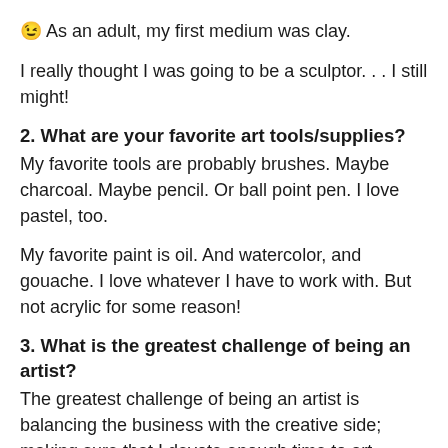😉 As an adult, my first medium was clay.
I really thought I was going to be a sculptor. . . I still might!
2. What are your favorite art tools/supplies?
My favorite tools are probably brushes. Maybe charcoal. Maybe pencil. Or ball point pen. I love pastel, too.
My favorite paint is oil. And watercolor, and gouache. I love whatever I have to work with. But not acrylic for some reason!
3. What is the greatest challenge of being an artist?
The greatest challenge of being an artist is balancing the business with the creative side; making sure that I devote enough time to art-making without letting the business lapse. I also find it important and not always easy to keep the business thoughts outside of the studio.